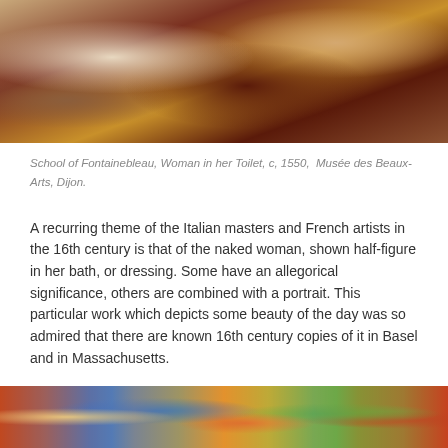[Figure (photo): Detail of School of Fontainebleau painting showing a woman with jewelry box, roses, and decorative items on a red surface; another figure visible at right]
School of Fontainebleau, Woman in her Toilet, c, 1550,  Musée des Beaux-Arts, Dijon.
A recurring theme of the Italian masters and French artists in the 16th century is that of the naked woman, shown half-figure in her bath, or dressing. Some have an allegorical significance, others are combined with a portrait. This particular work which depicts some beauty of the day was so admired that there are known 16th century copies of it in Basel and in Massachusetts.
[Figure (photo): Bottom portion of a colorful painting showing figures with vibrant colors including blues, reds, oranges, and greens]